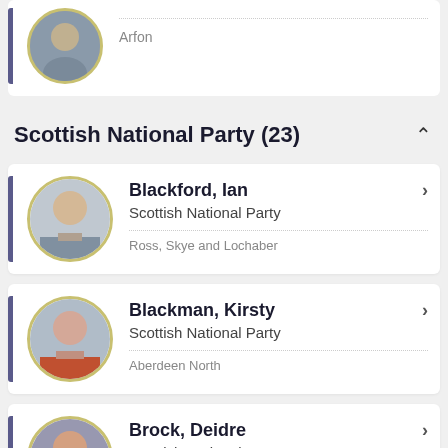Arfon
Scottish National Party (23)
Blackford, Ian — Scottish National Party — Ross, Skye and Lochaber
Blackman, Kirsty — Scottish National Party — Aberdeen North
Brock, Deidre — Scottish National Party